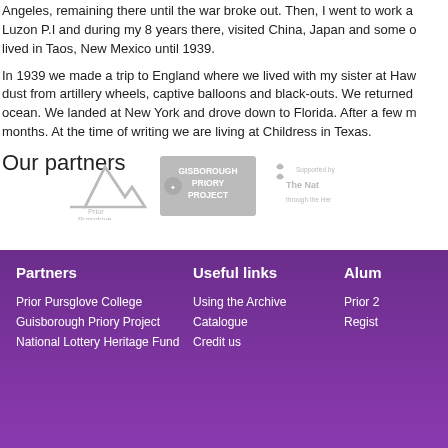Angeles, remaining there until the war broke out. Then, I went to work at Luzon P.I and during my 8 years there, visited China, Japan and some o lived in Taos, New Mexico until 1939.
In 1939 we made a trip to England where we lived with my sister at Haw dust from artillery wheels, captive balloons and black-outs. We returned ocean. We landed at New York and drove down to Florida. After a few m months. At the time of writing we are living at Childress in Texas.
Our partners
[Figure (logo): Prior Pursglove College logo - grey mountain/peak shape with text]
[Figure (logo): Gisborough Priory Project logo - grey stamp style]
[Figure (logo): National Lottery Heritage Fund - Supported by The National Lottery through the Heritage Fund logo]
Partners | Useful links | Alum
Prior Pursglove College | Using the Archive | Prior 2
Guisborough Priory Project | Catalogue | Regist
National Lottery Heritage Fund | Credit us